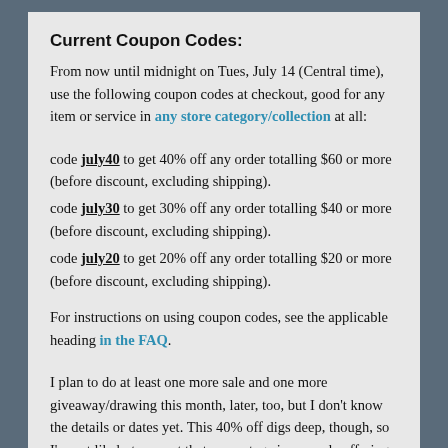Current Coupon Codes:
From now until midnight on Tues, July 14 (Central time), use the following coupon codes at checkout, good for any item or service in any store category/collection at all:
code july40 to get 40% off any order totalling $60 or more (before discount, excluding shipping).
code july30 to get 30% off any order totalling $40 or more (before discount, excluding shipping).
code july20 to get 20% off any order totalling $20 or more (before discount, excluding shipping).
For instructions on using coupon codes, see the applicable heading in the FAQ.
I plan to do at least one more sale and one more giveaway/drawing this month, later, too, but I don't know the details or dates yet. This 40% off digs deep, though, so I'm not likely to repeat that percentage in any sale offerings after this if I